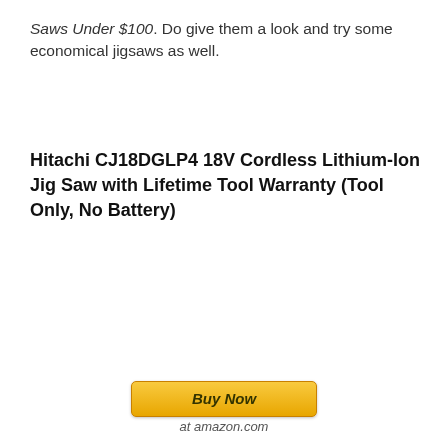Saws Under $100. Do give them a look and try some economical jigsaws as well.
Hitachi CJ18DGLP4 18V Cordless Lithium-Ion Jig Saw with Lifetime Tool Warranty (Tool Only, No Battery)
[Figure (other): Buy Now button with amazon.com label beneath it]